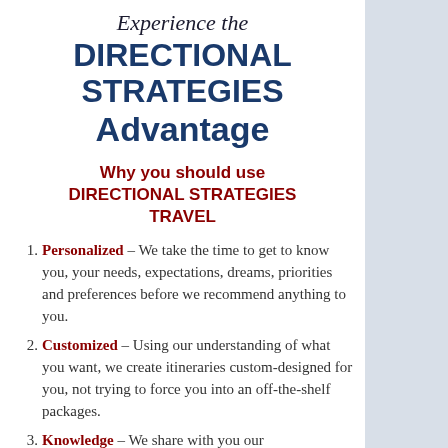Experience the DIRECTIONAL STRATEGIES Advantage
Why you should use DIRECTIONAL STRATEGIES TRAVEL
Personalized – We take the time to get to know you, your needs, expectations, dreams, priorities and preferences before we recommend anything to you.
Customized – Using our understanding of what you want, we create itineraries custom-designed for you, not trying to force you into an off-the-shelf packages.
Knowledge – We share with you our